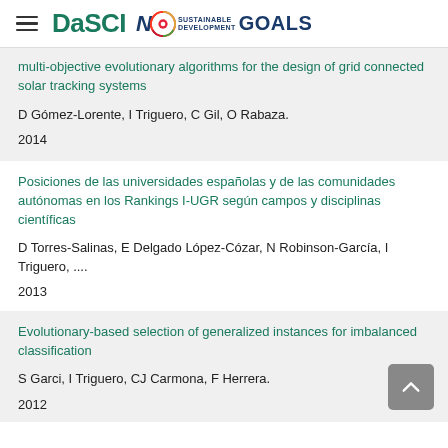DaSCI — Sustainable Development Goals
multi-objective evolutionary algorithms for the design of grid connected solar tracking systems
D Gómez-Lorente, I Triguero, C Gil, O Rabaza.
2014
Posiciones de las universidades españolas y de las comunidades autónomas en los Rankings I-UGR según campos y disciplinas científicas
D Torres-Salinas, E Delgado López-Cózar, N Robinson-García, I Triguero, ....
2013
Evolutionary-based selection of generalized instances for imbalanced classification
S Garci, I Triguero, CJ Carmona, F Herrera.
2012